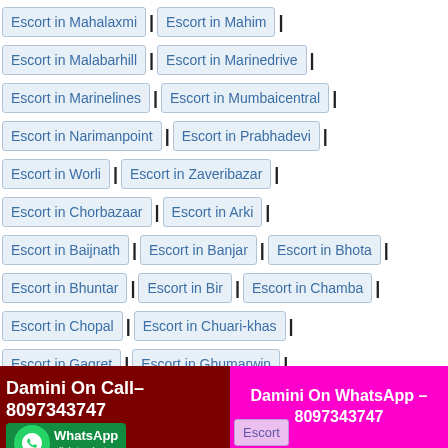Escort in Mahalaxmi | Escort in Mahim |
Escort in Malabarhill | Escort in Marinedrive |
Escort in Marinelines | Escort in Mumbaicentral |
Escort in Narimanpoint | Escort in Prabhadevi |
Escort in Worli | Escort in Zaveribazar |
Escort in Chorbazaar | Escort in Arki |
Escort in Baijnath | Escort in Banjar | Escort in Bhota |
Escort in Bhuntar | Escort in Bir | Escort in Chamba |
Escort in Chopal | Escort in Chuari-khas |
Escort in Gagret | Escort in Ghumarwin |
Escort in Hamirpur | Escort in Jawalamukhi |
Escort in Jubbal | Escort in Kotkhai | Escort in Kufri |
Escort in Nadaun | Escort in Nalagarh |
Escort in Narkanda | Escort in Nurpur |
Damini On Call– 8097343747
Damini On WhatsApp – 8097343747